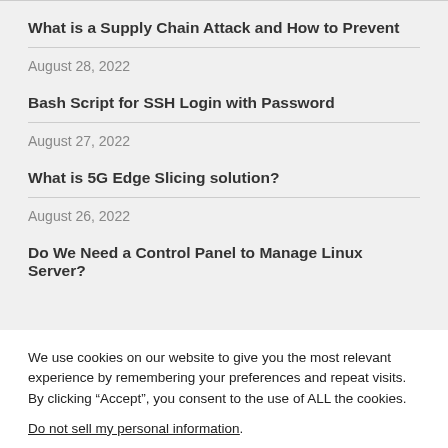What is a Supply Chain Attack and How to Prevent
August 28, 2022
Bash Script for SSH Login with Password
August 27, 2022
What is 5G Edge Slicing solution?
August 26, 2022
Do We Need a Control Panel to Manage Linux Server?
We use cookies on our website to give you the most relevant experience by remembering your preferences and repeat visits. By clicking “Accept”, you consent to the use of ALL the cookies.
Do not sell my personal information.